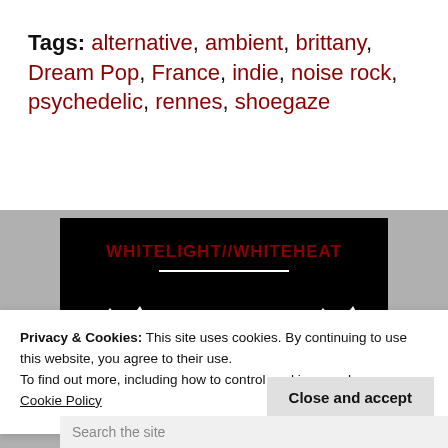Tags: alternative, ambient, brittany, Dream Pop, France, indie, noise rock, psychedelic, rennes, shoegaze
[Figure (screenshot): Black background image showing 'WHITELIGHT//WHITEHEAT' in dark red text, a white horizontal line, jagged white shapes at the bottom, and partially visible white text reading 'White light // White heat']
Privacy & Cookies: This site uses cookies. By continuing to use this website, you agree to their use.
To find out more, including how to control cookies, see here: Cookie Policy
Close and accept
Search the site